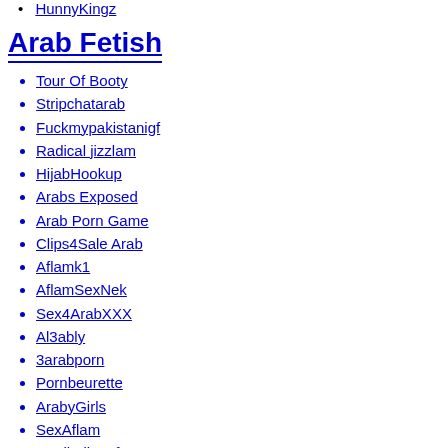HunnyKingz
Arab Fetish
Tour Of Booty
Stripchatarab
Fuckmypakistanigf
Radical jizzlam
HijabHookup
Arabs Exposed
Arab Porn Game
Clips4Sale Arab
Aflamk1
AflamSexNek
Sex4ArabXXX
Al3ably
3arabporn
Pornbeurette
ArabyGirls
SexAflam
Realindiangfs
Habibiporn
Arabnek
XXARXX
ArabXn